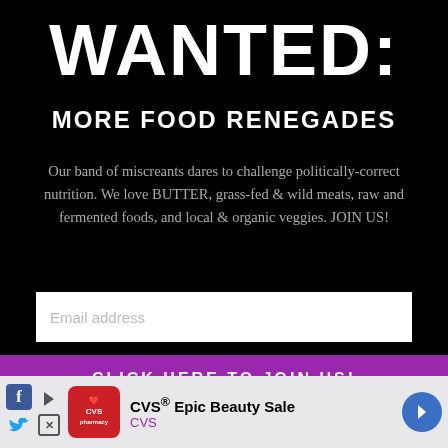WANTED:
MORE FOOD RENEGADES
Our band of miscreants dares to challenge politically-correct nutrition. We love BUTTER, grass-fed & wild meats, raw and fermented foods, and local & organic veggies. JOIN US!
Email address
CLICK HERE TO JOIN US!
[Figure (screenshot): CVS Epic Beauty Sale advertisement banner with CVS pharmacy logo and navigation arrow]